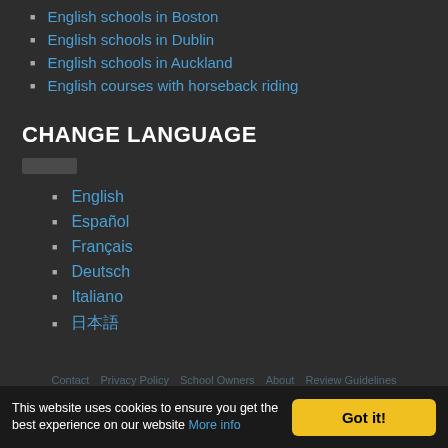English schools in Boston
English schools in Dublin
English schools in Auckland
English courses with horseback riding
CHANGE LANGUAGE
English
Español
Français
Deutsch
Italiano
日本語
Contact  Privacy Policy  School Owners  About  Review Guidelines
This website uses cookies to ensure you get the best experience on our website More info